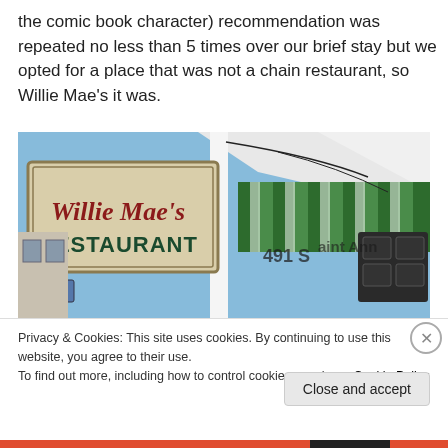the comic book character) recommendation was repeated no less than 5 times over our brief stay but we opted for a place that was not a chain restaurant, so Willie Mae's it was.
[Figure (photo): Photo of Willie Mae's Restaurant sign — a vintage beige and red sign reading 'Willie Mae's RESTAURANT' in script and block letters, with a green and white striped awning visible behind it and a blue sky background.]
Privacy & Cookies: This site uses cookies. By continuing to use this website, you agree to their use.
To find out more, including how to control cookies, see here: Cookie Policy
Close and accept